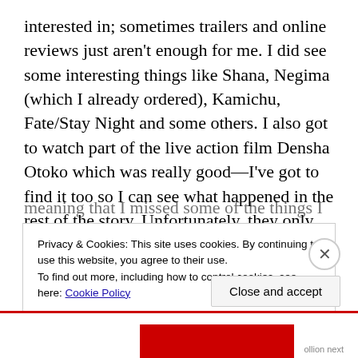interested in; sometimes trailers and online reviews just aren't enough for me. I did see some interesting things like Shana, Negima (which I already ordered), Kamichu, Fate/Stay Night and some others. I also got to watch part of the live action film Densha Otoko which was really good—I've got to find it too so I can see what happened in the rest of the story. Unfortunately, they only had two screening rooms and it seems they were having lots of technical problems. It also seemed like they would change around the screening schedule and shows on a whim—
meaning that I missed some of the things I wanted to see
Privacy & Cookies: This site uses cookies. By continuing to use this website, you agree to their use.
To find out more, including how to control cookies, see here: Cookie Policy
Close and accept